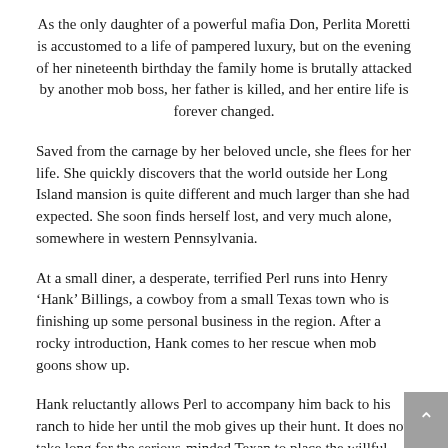As the only daughter of a powerful mafia Don, Perlita Moretti is accustomed to a life of pampered luxury, but on the evening of her nineteenth birthday the family home is brutally attacked by another mob boss, her father is killed, and her entire life is forever changed.
Saved from the carnage by her beloved uncle, she flees for her life. She quickly discovers that the world outside her Long Island mansion is quite different and much larger than she had expected. She soon finds herself lost, and very much alone, somewhere in western Pennsylvania.
At a small diner, a desperate, terrified Perl runs into Henry ‘Hank’ Billings, a cowboy from a small Texas town who is finishing up some personal business in the region. After a rocky introduction, Hank comes to her rescue when mob goons show up.
Hank reluctantly allows Perl to accompany him back to his ranch to hide her until the mob gives up their hunt. It does not take long for the serious-minded Texan to place the willful, spoiled young lady across his knee for a bare-bottom spanking and some basic lessons in good manners. As time passes, Perl allows herself to submit to the